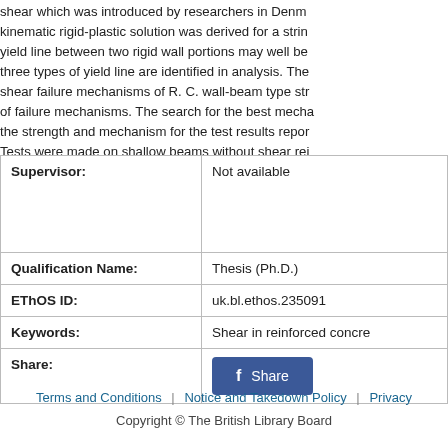shear which was introduced by researchers in Denmark. A kinematic rigid-plastic solution was derived for a string yield line between two rigid wall portions may well be three types of yield line are identified in analysis. The shear failure mechanisms of R. C. wall-beam type str of failure mechanisms. The search for the best mecha the strength and mechanism for the test results repor Tests were made on shallow beams without shear re fundamental calculations made by the model. The m observed failure mechanism. The strength prediction study are: (1) If a correct mechanism is predicted the (2) The plastic solution of R. C. is only an approximat
| Field | Value |
| --- | --- |
| Supervisor: | Not available |
| Qualification Name: | Thesis (Ph.D.) |
| EThOS ID: | uk.bl.ethos.235091 |
| Keywords: | Shear in reinforced concre |
| Share: | Share |
Terms and Conditions | Notice and Takedown Policy | Privacy
Copyright © The British Library Board